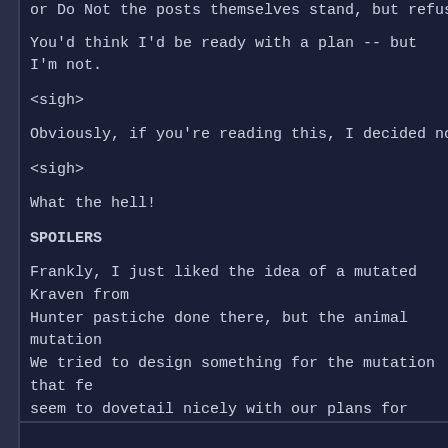or Do Not the posts themselves stand, but refuse to
You'd think I'd be ready with a plan -- but I'm not.
<sigh>
Obviously, if you're reading this, I decided not to go w
<sigh>
What the hell!
SPOILERS
Frankly, I just liked the idea of a mutated Kraven fro... Hunter pastiche done there, but the animal mutation ... We tried to design something for the mutation that fe... seem to dovetail nicely with our plans for Miles (thou... that reason alone). Of course the boarding, direction... Spidey/Kravinoff battle came off so well, that mutatin... unnecessary in hindsight. But even before the episod... (Season Three) plans for Kraven that will make the c... me, anyway.